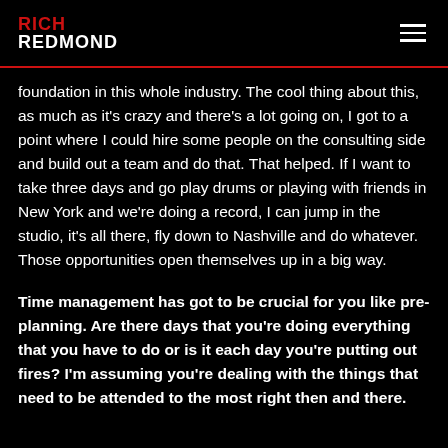RICH REDMOND
foundation in this whole industry. The cool thing about this, as much as it’s crazy and there’s a lot going on, I got to a point where I could hire some people on the consulting side and build out a team and do that. That helped. If I want to take three days and go play drums or playing with friends in New York and we’re doing a record, I can jump in the studio, it’s all there, fly down to Nashville and do whatever. Those opportunities open themselves up in a big way.
Time management has got to be crucial for you like pre-planning. Are there days that you’re doing everything that you have to do or is it each day you’re putting out fires? I’m assuming you’re dealing with the things that need to be attended to the most right then and there.